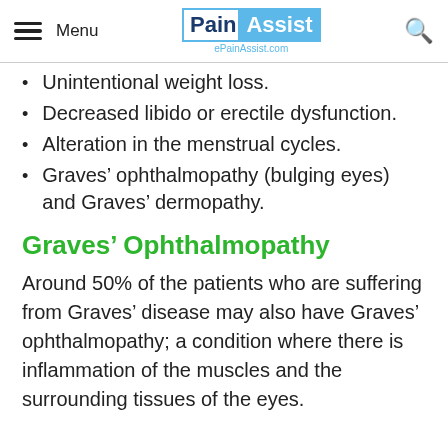Menu | PainAssist ePainAssist.com
Unintentional weight loss.
Decreased libido or erectile dysfunction.
Alteration in the menstrual cycles.
Graves’ ophthalmopathy (bulging eyes) and Graves’ dermopathy.
Graves’ Ophthalmopathy
Around 50% of the patients who are suffering from Graves’ disease may also have Graves’ ophthalmopathy; a condition where there is inflammation of the muscles and the surrounding tissues of the eyes.